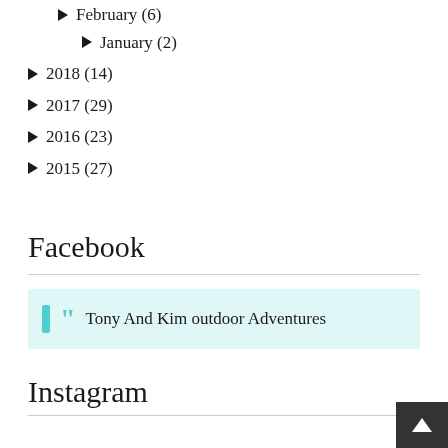February (6)
January (2)
2018 (14)
2017 (29)
2016 (23)
2015 (27)
Facebook
Tony And Kim outdoor Adventures
Instagram